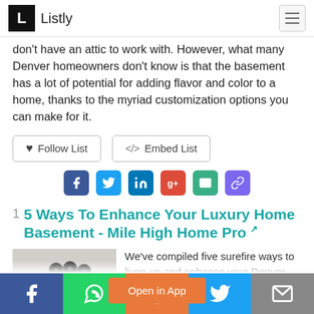Listly
don't have an attic to work with. However, what many Denver homeowners don't know is that the basement has a lot of potential for adding flavor and color to a home, thanks to the myriad customization options you can make for it.
Follow List
Embed List
[Figure (infographic): Social share icons: Facebook, Twitter, LinkedIn, Google+, Email, Link]
1  5 Ways To Enhance Your Luxury Home Basement - Mile High Home Pro
[Figure (photo): Interior photo of a basement room with drum kit and music setup]
We've compiled five surefire ways to liven up and enhance your Denver home's basement. h out and see a method you might like!
[Figure (infographic): Open in App orange button overlay]
Social share bottom bar: Facebook, WhatsApp, Reddit, Twitter, Email